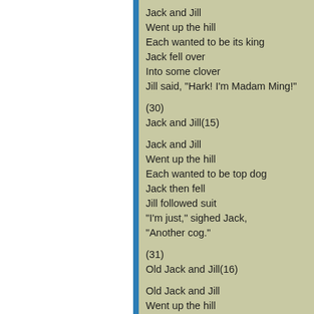Jack and Jill
Went up the hill
Each wanted to be its king
Jack fell over
Into some clover
Jill said, "Hark! I'm Madam Ming!"
(30)
Jack and Jill(15)
Jack and Jill
Went up the hill
Each wanted to be top dog
Jack then fell
Jill followed suit
"I'm just," sighed Jack,
"Another cog."
(31)
Old Jack and Jill(16)
Old Jack and Jill
Went up the hill
To try to reach the top